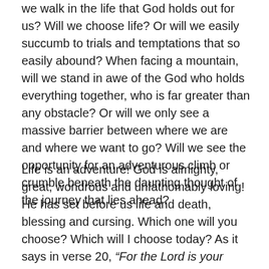we walk in the life that God holds out for us?  Will we choose life?  Or will we easily succumb to trials and temptations that so easily abound?  When facing a mountain, will we stand in awe of the God who holds everything together, who is far greater than any obstacle?  Or will we only see a massive barrier between where we are and where we want to go?  Will we see the opportunity for an adventurous climb or crumble beneath the daunting thought of the journey that lies ahead?
Life is an adventure!  God is almighty, great, wondrous and unfathomably loving!  He has set before us life and death, blessing and cursing.  Which one will you choose?  Which will I choose today?  As it says in verse 20, “For the Lord is your life…” I pray that this passage always stays at the forefront of my mind – that I would remember to dwell on His goodness, His salvation, His power in my life rather